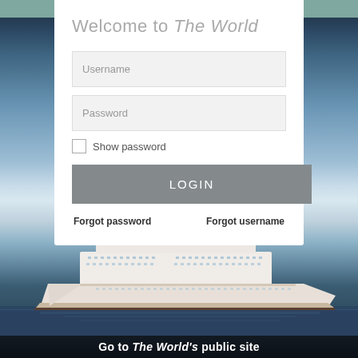Welcome to The World
Username
Password
Show password
LOGIN
Forgot password
Forgot username
[Figure (photo): Cruise ship 'The World' floating on calm ocean water with sky background]
Go to The World's public site